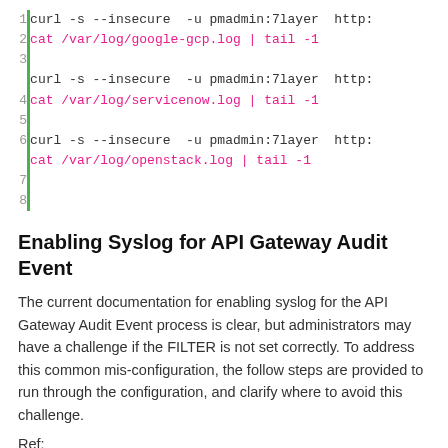[Figure (screenshot): Code block with line numbers 1-8 and a green left border. Lines 1-2: curl command; line 3: cat /var/log/google-gcp.log | tail -1 (pink). Lines 4-6: curl command and cat /var/log/servicenow.log | tail -1 (pink). Lines 7-8: curl command and cat /var/log/openstack.log | tail -1 (pink).]
Enabling Syslog for API Gateway Audit Event
The current documentation for enabling syslog for the API Gateway Audit Event process is clear, but administrators may have a challenge if the FILTER is not set correctly. To address this common mis-configuration, the follow steps are provided to run through the configuration, and clarify where to avoid this challenge.
Ref:
https://techdocs.broadcom.com/content/broadcom/techdocs/us/en/ca-enterprise-software/layer7-api-management/api-